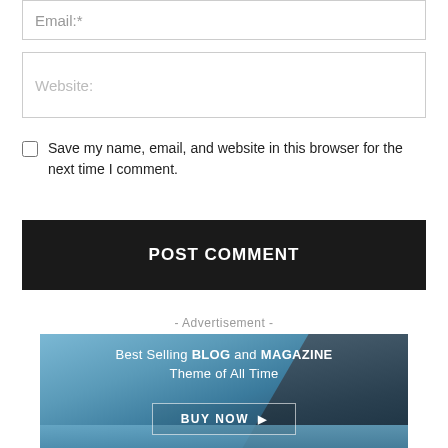Email:*
Website:
Save my name, email, and website in this browser for the next time I comment.
POST COMMENT
- Advertisement -
[Figure (photo): Advertisement banner with coastal cliff and water background, text: Best Selling BLOG and MAGAZINE Theme of All Time, with BUY NOW button]